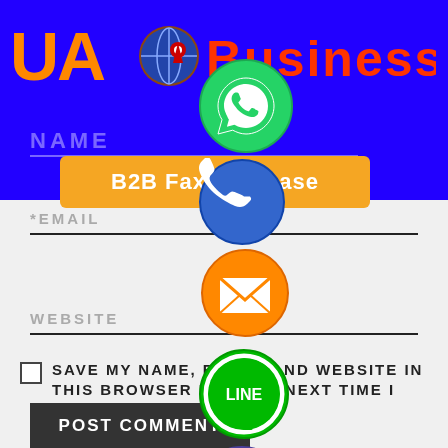[Figure (logo): UA Business Directory logo with orange UA text and business directory name in red-orange]
NAME
B2B Fax Database
*EMAIL
WEBSITE
SAVE MY NAME, EMAIL, AND WEBSITE IN THIS BROWSER FOR THE NEXT TIME I COMMENT.
POST COMMENT
[Figure (illustration): WhatsApp green circular icon]
[Figure (illustration): Phone call blue circular icon]
[Figure (illustration): Email orange circular icon with envelope]
[Figure (illustration): LINE green circular icon]
[Figure (illustration): Viber purple circular icon]
[Figure (illustration): Close/X green circular button]